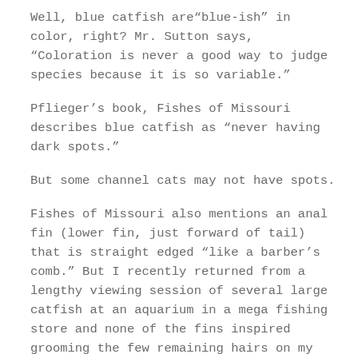Well, blue catfish are“blue-ish” in color, right? Mr. Sutton says, “Coloration is never a good way to judge species because it is so variable.”
Pflieger’s book, Fishes of Missouri describes blue catfish as “never having dark spots.”
But some channel cats may not have spots.
Fishes of Missouri also mentions an anal fin (lower fin, just forward of tail) that is straight edged “like a barber’s comb.” But I recently returned from a lengthy viewing session of several large catfish at an aquarium in a mega fishing store and none of the fins inspired grooming the few remaining hairs on my head.
“In the end (pun intended?),” Mr. Sutton wrote, “There’s only one sure way to tell…the anal fin rays.”